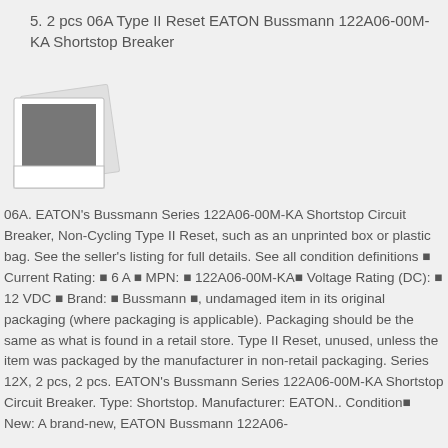5. 2 pcs 06A Type II Reset EATON Bussmann 122A06-00M-KA Shortstop Breaker
[Figure (photo): Polaroid-style placeholder image icon representing product photos]
06A. EATON's Bussmann Series 122A06-00M-KA Shortstop Circuit Breaker, Non-Cycling Type II Reset, such as an unprinted box or plastic bag. See the seller's listing for full details. See all condition definitions ▪ Current Rating: ▪ 6 A ▪ MPN: ▪ 122A06-00M-KA▪ Voltage Rating (DC): ▪ 12 VDC ▪ Brand: ▪ Bussmann ▪, undamaged item in its original packaging (where packaging is applicable). Packaging should be the same as what is found in a retail store. Type II Reset, unused, unless the item was packaged by the manufacturer in non-retail packaging. Series 12X, 2 pcs, 2 pcs. EATON's Bussmann Series 122A06-00M-KA Shortstop Circuit Breaker. Type: Shortstop. Manufacturer: EATON.. Condition▪ New: A brand-new, EATON Bussmann 122A06-